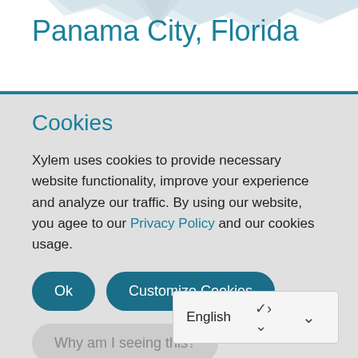[Figure (illustration): Partial map graphic showing geographic outlines in light blue/gray at the top of the page]
Panama City, Florida
Cookies
Xylem uses cookies to provide necessary website functionality, improve your experience and analyze our traffic. By using our website, you agee to our Privacy Policy and our cookies usage.
Ok  Customize Cookies
Why am I seeing this?
English